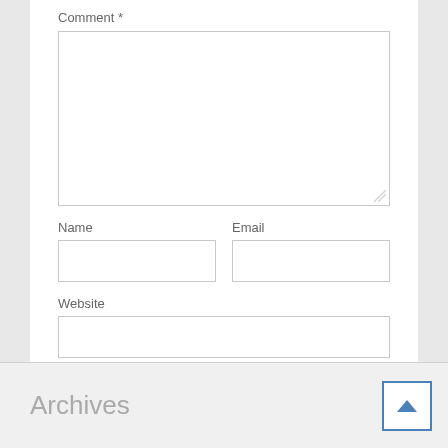Comment *
[Figure (screenshot): Comment textarea input field]
Name
[Figure (screenshot): Name text input field]
Email
[Figure (screenshot): Email text input field]
Website
[Figure (screenshot): Website text input field]
[Figure (screenshot): Post Comment button in blue]
Archives